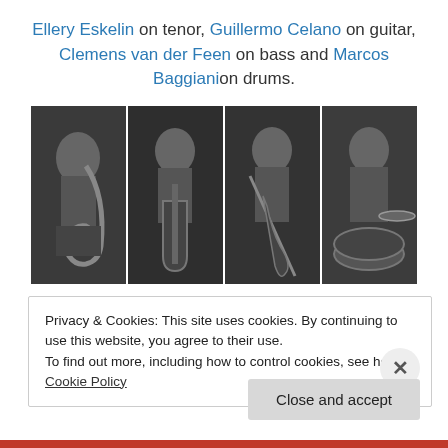Ellery Eskelin on tenor, Guillermo Celano on guitar, Clemens van der Feen on bass and Marcos Baggianion drums.
[Figure (photo): Four black and white photos side by side: saxophonist (Ellery Eskelin), guitarist (Guillermo Celano), bassist (Clemens van der Feen), and drummer (Marcos Baggiani) performing.]
Have a listen!!
Privacy & Cookies: This site uses cookies. By continuing to use this website, you agree to their use.
To find out more, including how to control cookies, see here: Cookie Policy
Close and accept